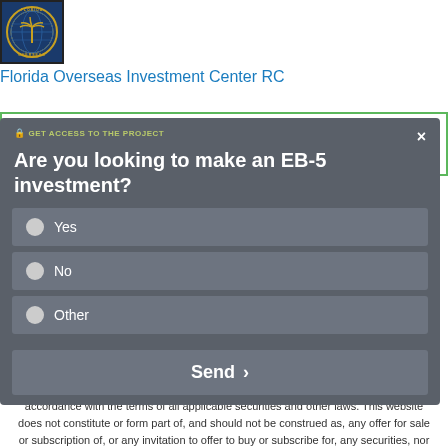[Figure (logo): Florida Overseas Investment Center RC circular logo with globe/palm tree design on dark blue background]
Florida Overseas Investment Center RC
[Figure (screenshot): Modal dialog: GET ACCESS TO THE PROJECT. Question: Are you looking to make an EB-5 investment? Radio options: Yes, No, Other. Send button.]
Securities Disclaimer
This website is for informational purposes only and does not constitute an offer or solicitation to sell shares or securities. Any such offer or solicitation will be made only by means of an investment's confidential Offering Memorandum and in accordance with the terms of all applicable securities and other laws. This website does not constitute or form part of, and should not be construed as, any offer for sale or subscription of, or any invitation to offer to buy or subscribe for, any securities, nor